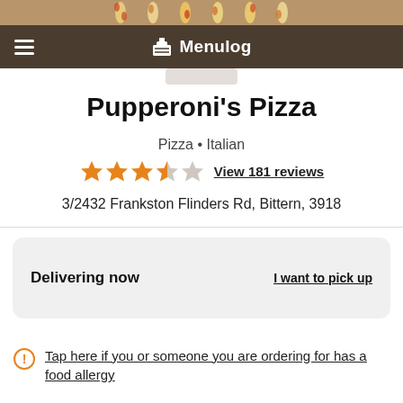[Figure (screenshot): Menulog app header with logo and hamburger menu icon]
Pupperoni's Pizza
Pizza • Italian
★★★★☆ View 181 reviews
3/2432 Frankston Flinders Rd, Bittern, 3918
Delivering now   I want to pick up
Tap here if you or someone you are ordering for has a food allergy